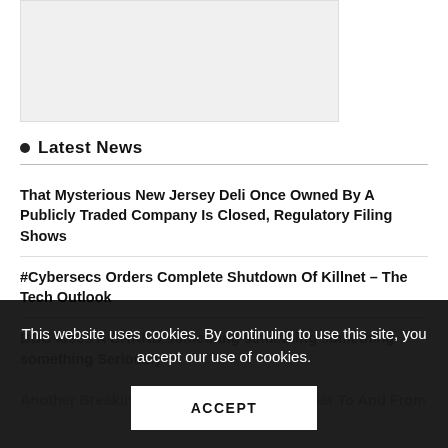[Figure (other): Gray placeholder image box in upper left area of the page]
Latest News
That Mysterious New Jersey Deli Once Owned By A Publicly Traded Company Is Closed, Regulatory Filing Shows
#Cybersecs Orders Complete Shutdown Of Killnet – The Tech Outlook
This website uses cookies. By continuing to use this site, you accept our use of cookies.
ACCEPT